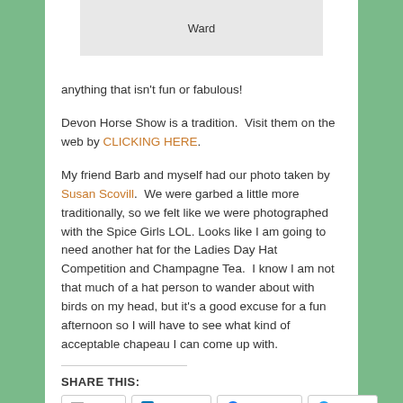[Figure (other): Gray box placeholder image with text 'Ward' centered]
anything that isn't fun or fabulous!
Devon Horse Show is a tradition.  Visit them on the web by CLICKING HERE.
My friend Barb and myself had our photo taken by Susan Scovill.  We were garbed a little more traditionally, so we felt like we were photographed with the Spice Girls LOL.  Looks like I am going to need another hat for the Ladies Day Hat Competition and Champagne Tea.  I know I am not that much of a hat person to wander about with birds on my head, but it's a good excuse for a fun afternoon so I will have to see what kind of acceptable chapeau I can come up with.
SHARE THIS:
Email  LinkedIn  Facebook  Twitter